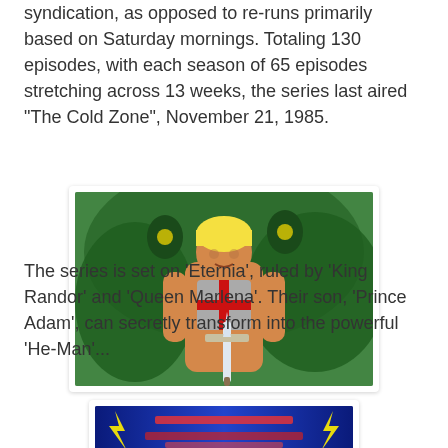syndication, as opposed to re-runs primarily based on Saturday mornings. Totaling 130 episodes, with each season of 65 episodes stretching across 13 weeks, the series last aired "The Cold Zone", November 21, 1985.
[Figure (illustration): Animated illustration of He-Man, a muscular blonde character wearing grey armor with a red cross, holding a sword, with a green creature/background behind him.]
The series is set on 'Eternia', ruled by 'King Randor' and 'Queen Marlena'. Their son, 'Prince Adam', can secretly transform into the powerful 'He-Man'...
[Figure (illustration): Partial view of a second image at the bottom of the page, appears to show a title card or logo with blue and red coloring.]